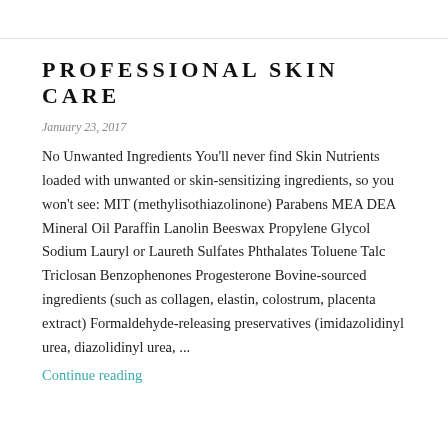PROFESSIONAL SKIN CARE
January 23, 2017
No Unwanted Ingredients You'll never find Skin Nutrients loaded with unwanted or skin-sensitizing ingredients, so you won't see: MIT (methylisothiazolinone) Parabens MEA DEA Mineral Oil Paraffin Lanolin Beeswax Propylene Glycol Sodium Lauryl or Laureth Sulfates Phthalates Toluene Talc Triclosan Benzophenones Progesterone Bovine-sourced ingredients (such as collagen, elastin, colostrum, placenta extract) Formaldehyde-releasing preservatives (imidazolidinyl urea, diazolidinyl urea, ...
Continue reading